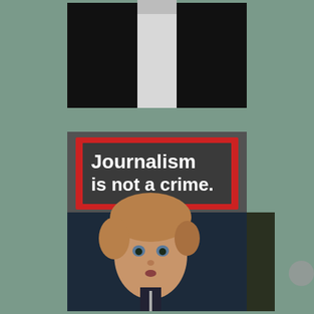[Figure (photo): Two photographs stacked vertically on a muted green-grey background. Top photo: close-up of a person in a black jacket and white shirt/tie. Bottom photo: a young child with curly blonde hair and blue eyes holding a protest sign that reads 'Journalism is not a crime.' The sign is dark grey with a red border and white bold text. The child wears a dark navy puffer jacket.]